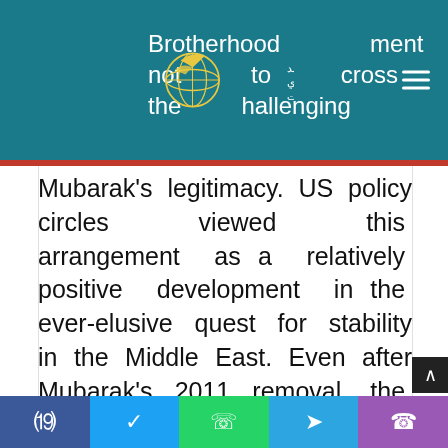Brotherhood agreement not to cross the line challenging Mubarak's legitimacy.
US policy circles viewed this arrangement as a relatively positive development in the ever-elusive quest for stability in the Middle East. Even after Mubarak's 2011 removal, the Muslim Brotherhood sought to reassure its critics in Washington that stability remained a paramount goal as its political party sailed into the uncharted waters of a post-
Social share buttons: Facebook, Twitter, WhatsApp, Telegram, Phone